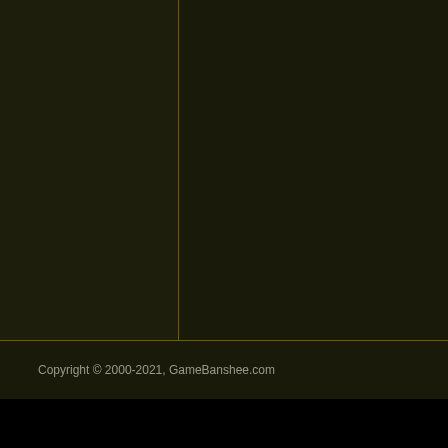[Figure (illustration): Throwing skill icon - a dagger/sword with orange motion streaks]
Throwing
Increases damage of Throwing W
[Figure (illustration): Water Magic skill icon - a glowing blue orb with claw-like tendrils]
Water Magic
Increases damage of all water s
Copyright © 2000-2021, GameBanshee.com